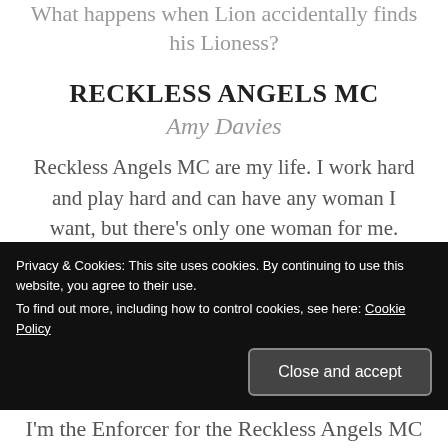What happens when Lion accidentally finds his Lioness?
RECKLESS ANGELS MC
Amy Davies
Reckless Angels MC are my life. I work hard and play hard and can have any woman I want, but there’s only one woman for me. Why do I push her away when all I want to do is to pull her close to me and never let go? It’s
Privacy & Cookies: This site uses cookies. By continuing to use this website, you agree to their use.
To find out more, including how to control cookies, see here: Cookie Policy
Close and accept
I'm the Enforcer for the Reckless Angels MC b